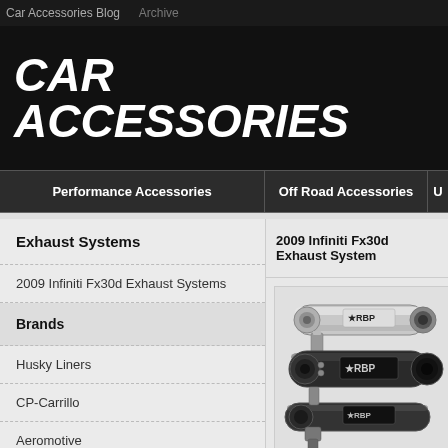Car Accessories Blog   Archive
CAR ACCESSORIES
Performance Accessories
Off Road Accessories
U
Exhaust Systems
2009 Infiniti Fx30d Exhaust Systems
2009 Infiniti Fx30d Exhaust Systems
Brands
Husky Liners
CP-Carrillo
Aeromotive
Genuine
[Figure (photo): RBP branded exhaust pipes - chrome and black dual exhaust system with star logo on end caps]